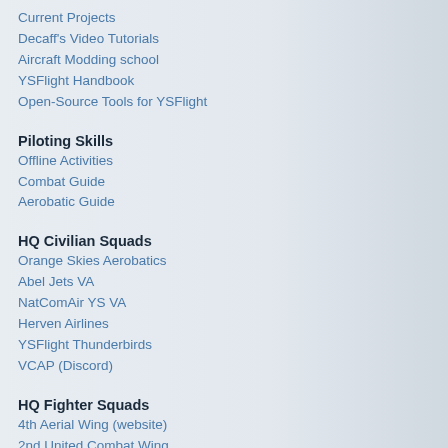Current Projects
Decaff's Video Tutorials
Aircraft Modding school
YSFlight Handbook
Open-Source Tools for YSFlight
Piloting Skills
Offline Activities
Combat Guide
Aerobatic Guide
HQ Civilian Squads
Orange Skies Aerobatics
Abel Jets VA
NatComAir YS VA
Herven Airlines
YSFlight Thunderbirds
VCAP (Discord)
HQ Fighter Squads
4th Aerial Wing (website)
2nd United Combat Wing
CVW-171
SARF (website)
9th Matrix (website)
VFA-49 Ghost Hawks
Related YS Sites